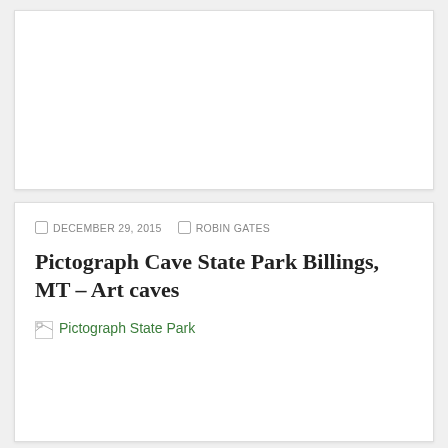[Figure (other): White card placeholder area — top card, no visible image content]
DECEMBER 29, 2015   ROBIN GATES
Pictograph Cave State Park Billings, MT – Art caves
[Figure (photo): Broken image placeholder with link text 'Pictograph State Park' in green]